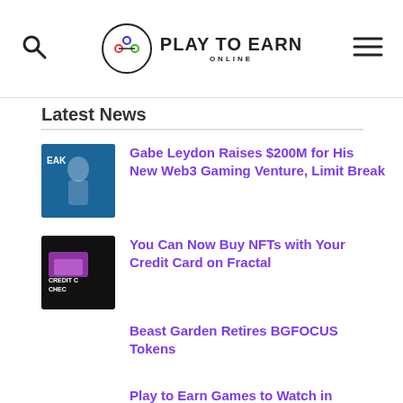Play to Earn Online
Latest News
Gabe Leydon Raises $200M for His New Web3 Gaming Venture, Limit Break
You Can Now Buy NFTs with Your Credit Card on Fractal
Beast Garden Retires BGFOCUS Tokens
Play to Earn Games to Watch in September